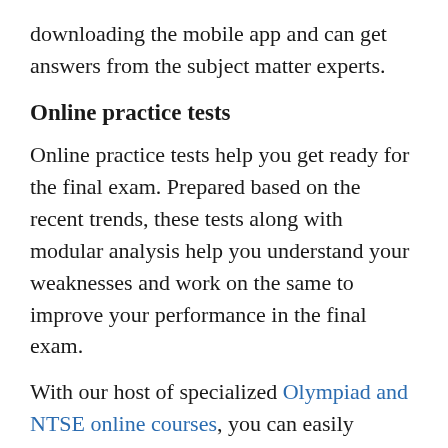downloading the mobile app and can get answers from the subject matter experts.
Online practice tests
Online practice tests help you get ready for the final exam. Prepared based on the recent trends, these tests along with modular analysis help you understand your weaknesses and work on the same to improve your performance in the final exam.
With our host of specialized Olympiad and NTSE online courses, you can easily expose yourself to the right kind of training and quality questions, all from within the comfort of your own home! We provide not only a simplified explanation of the most complex of topics but also provide you with a chance to test your mettle with our multidimensional test series. These